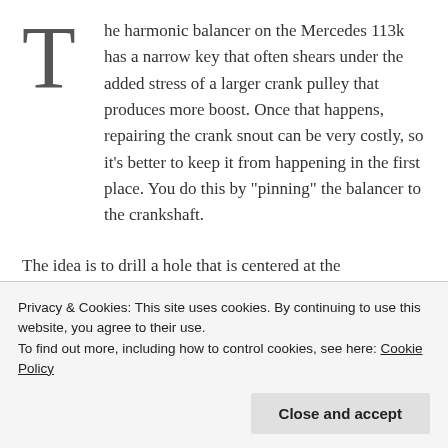The harmonic balancer on the Mercedes 113k has a narrow key that often shears under the added stress of a larger crank pulley that produces more boost. Once that happens, repairing the crank snout can be very costly, so it's better to keep it from happening in the first place. You do this by "pinning" the balancer to the crankshaft.
The idea is to drill a hole that is centered at the
Privacy & Cookies: This site uses cookies. By continuing to use this website, you agree to their use.
To find out more, including how to control cookies, see here: Cookie Policy
that make crank pinning kits, but since I have an